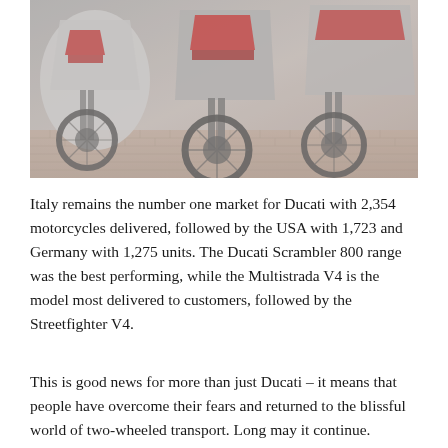[Figure (photo): A row of Ducati motorcycles parked closely together, showing red and white/grey bodywork, front forks and wheels, on a brick paved surface. The image has a muted, slightly washed-out colour palette.]
Italy remains the number one market for Ducati with 2,354 motorcycles delivered, followed by the USA with 1,723 and Germany with 1,275 units. The Ducati Scrambler 800 range was the best performing, while the Multistrada V4 is the model most delivered to customers, followed by the Streetfighter V4.
This is good news for more than just Ducati – it means that people have overcome their fears and returned to the blissful world of two-wheeled transport. Long may it continue.